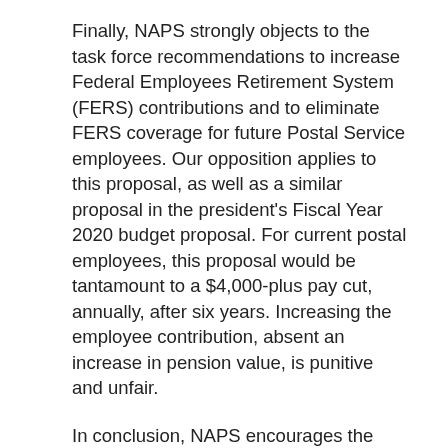Finally, NAPS strongly objects to the task force recommendations to increase Federal Employees Retirement System (FERS) contributions and to eliminate FERS coverage for future Postal Service employees. Our opposition applies to this proposal, as well as a similar proposal in the president's Fiscal Year 2020 budget proposal. For current postal employees, this proposal would be tantamount to a $4,000-plus pay cut, annually, after six years. Increasing the employee contribution, absent an increase in pension value, is punitive and unfair.
In conclusion, NAPS encourages the committee to move ahead toward approval of a postal reform measure that reflects the Postal Service's statutory responsibility to bind the nation through universal service to our citizens and ensure postal accessibility, security and reliability. The task force made a meaningful contribution to the discussion, but Congress should move ahead, consistent with its constitutional authority to establish post offices and post roads, to assure the long-term vitality of the nation's postal system.